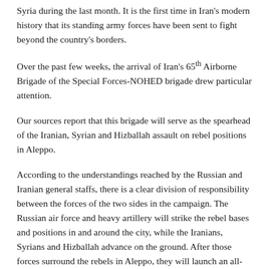Syria during the last month. It is the first time in Iran's modern history that its standing army forces have been sent to fight beyond the country's borders.
Over the past few weeks, the arrival of Iran's 65th Airborne Brigade of the Special Forces-NOHED brigade drew particular attention.
Our sources report that this brigade will serve as the spearhead of the Iranian, Syrian and Hizballah assault on rebel positions in Aleppo.
According to the understandings reached by the Russian and Iranian general staffs, there is a clear division of responsibility between the forces of the two sides in the campaign. The Russian air force and heavy artillery will strike the rebel bases and positions in and around the city, while the Iranians, Syrians and Hizballah advance on the ground. After those forces surround the rebels in Aleppo, they will launch an all-out attack.